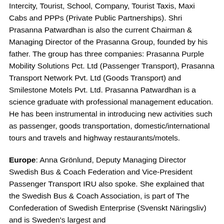Intercity, Tourist, School, Company, Tourist Taxis, Maxi Cabs and PPPs (Private Public Partnerships). Shri Prasanna Patwardhan is also the current Chairman & Managing Director of the Prasanna Group, founded by his father. The group has three companies: Prasanna Purple Mobility Solutions Pct. Ltd (Passenger Transport), Prasanna Transport Network Pvt. Ltd (Goods Transport) and Smilestone Motels Pvt. Ltd. Prasanna Patwardhan is a science graduate with professional management education. He has been instrumental in introducing new activities such as passenger, goods transportation, domestic/international tours and travels and highway restaurants/motels.
Europe: Anna Grönlund, Deputy Managing Director Swedish Bus & Coach Federation and Vice-President Passenger Transport IRU also spoke. She explained that the Swedish Bus & Coach Association, is part of The Confederation of Swedish Enterprise (Svenskt Näringsliv) and is Sweden's largest and